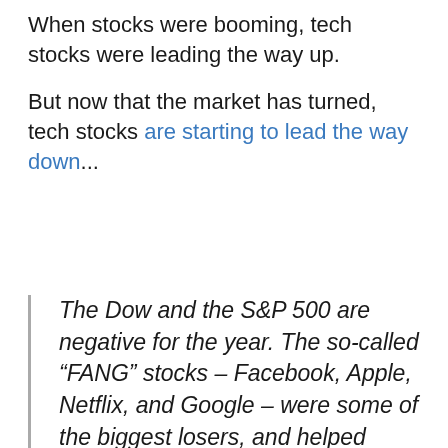When stocks were booming, tech stocks were leading the way up.
But now that the market has turned, tech stocks are starting to lead the way down...
The Dow and the S&P 500 are negative for the year. The so-called “FANG” stocks – Facebook, Apple, Netflix, and Google – were some of the biggest losers, and helped send the Nasdaq more than 2% lower. Biotechs also suffered big losses; the iShares Nasdaq Biotechnology ETF fell 4% to a three-month low. The Vix, which